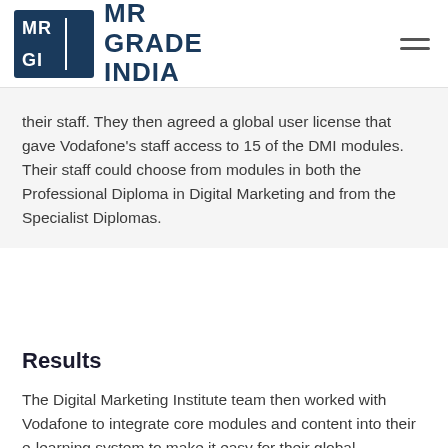[Figure (logo): MR Grade India logo with blue square icon containing MR GI letters and text MR GRADE INDIA beside it, plus hamburger menu icon on the right]
their staff. They then agreed a global user license that gave Vodafone's staff access to 15 of the DMI modules. Their staff could choose from modules in both the Professional Diploma in Digital Marketing and from the Specialist Diplomas.
Results
The Digital Marketing Institute team then worked with Vodafone to integrate core modules and content into their e-learning system to make it easy for their global workforce to train together, wherever